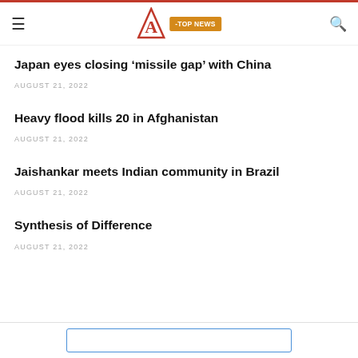YOU MAY ALSO LIKE
Japan eyes closing ‘missile gap’ with China
AUGUST 21, 2022
Heavy flood kills 20 in Afghanistan
AUGUST 21, 2022
Jaishankar meets Indian community in Brazil
AUGUST 21, 2022
Synthesis of Difference
AUGUST 21, 2022